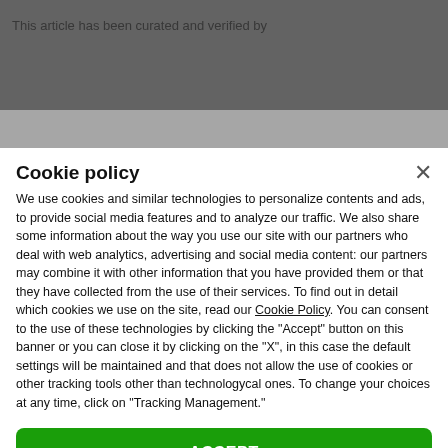This article has been curated and verified by
Cookie policy
We use cookies and similar technologies to personalize contents and ads, to provide social media features and to analyze our traffic. We also share some information about the way you use our site with our partners who deal with web analytics, advertising and social media content: our partners may combine it with other information that you have provided them or that they have collected from the use of their services. To find out in detail which cookies we use on the site, read our Cookie Policy. You can consent to the use of these technologies by clicking the "Accept" button on this banner or you can close it by clicking on the "X", in this case the default settings will be maintained and that does not allow the use of cookies or other tracking tools other than technologycal ones. To change your choices at any time, click on "Tracking Management."
ACCEPT
TRACKERS MANAGEMENT
Show vendors | Show purposes